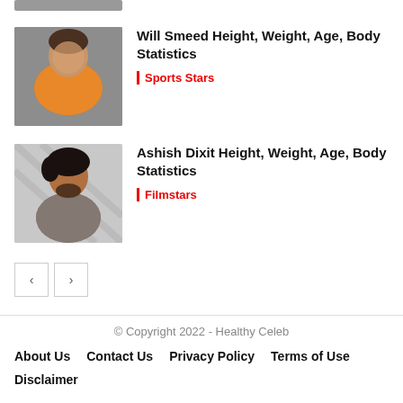[Figure (photo): Partial top image of a person, cropped — only top portion visible]
Will Smeed Height, Weight, Age, Body Statistics
Sports Stars
[Figure (photo): Photo of Ashish Dixit, a young man with black hair and beard wearing a grey hoodie]
Ashish Dixit Height, Weight, Age, Body Statistics
Filmstars
< >
© Copyright 2022 - Healthy Celeb
About Us   Contact Us   Privacy Policy   Terms of Use
Disclaimer